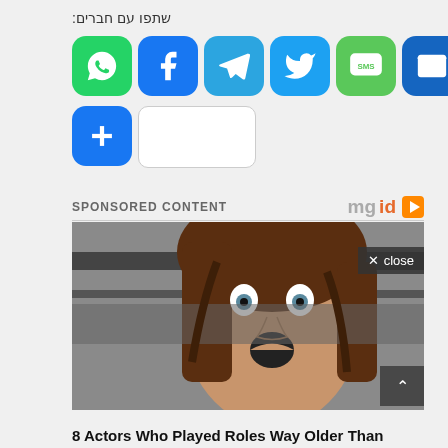שתפו עם חברים:
[Figure (screenshot): Social share buttons: WhatsApp, Facebook, Telegram, Twitter, SMS, Email, More (+), Copy link]
SPONSORED CONTENT
[Figure (logo): mgid logo with play icon]
[Figure (photo): Photo of a woman with wide eyes and open mouth looking shocked, with wet hair, against a concrete wall background. A close button overlay is visible in top right.]
8 Actors Who Played Roles Way Older Than